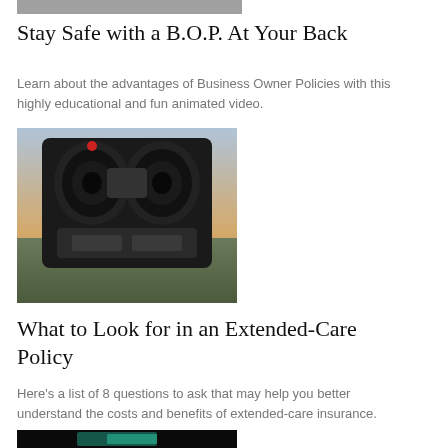[Figure (photo): Partial view of a photo at the top of the page (cropped)]
Stay Safe with a B.O.P. At Your Back
Learn about the advantages of Business Owner Policies with this highly educational and fun animated video.
[Figure (photo): Coin-operated binoculars with a cityscape view in the background at dusk]
What to Look for in an Extended-Care Policy
Here's a list of 8 questions to ask that may help you better understand the costs and benefits of extended-care insurance.
[Figure (photo): Dark image of person reading a tablet with colorful content, partially visible]